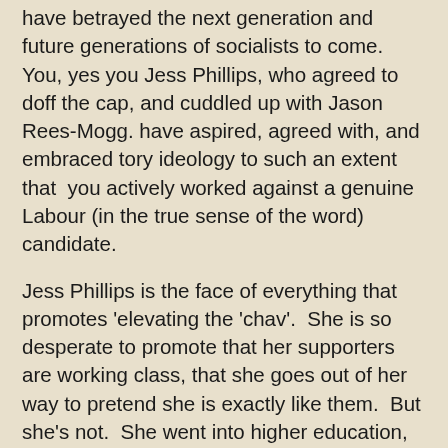have betrayed the next generation and future generations of socialists to come.  You, yes you Jess Phillips, who agreed to doff the cap, and cuddled up with Jason Rees-Mogg. have aspired, agreed with, and embraced tory ideology to such an extent that  you actively worked against a genuine Labour (in the true sense of the word) candidate.
Jess Phillips is the face of everything that promotes 'elevating the 'chav'.  She is so desperate to promote that her supporters are working class, that she goes out of her way to pretend she is exactly like them.  But she's not.  She went into higher education, she wrote her essays in the Queen's English, language and grammar that gave her the degree she sought.  She knows that you cannot succeed in life without being able to communicate effectively.  If she was honest, she would tell those youngsters in her constituency to speak properly and widen their vocabulary if they seek high level jobs!